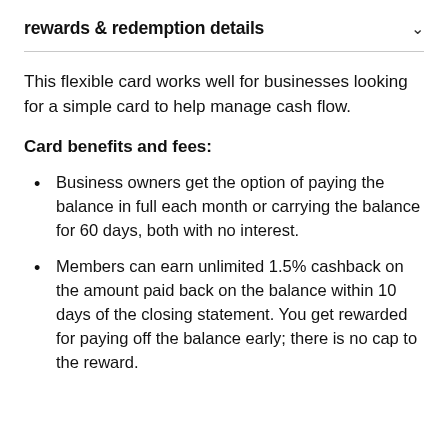rewards & redemption details
This flexible card works well for businesses looking for a simple card to help manage cash flow.
Card benefits and fees:
Business owners get the option of paying the balance in full each month or carrying the balance for 60 days, both with no interest.
Members can earn unlimited 1.5% cashback on the amount paid back on the balance within 10 days of the closing statement. You get rewarded for paying off the balance early; there is no cap to the reward.